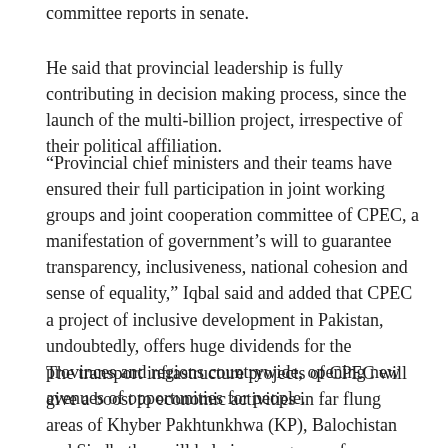committee reports in senate.
He said that provincial leadership is fully contributing in decision making process, since the launch of the multi-billion project, irrespective of their political affiliation.
“Provincial chief ministers and their teams have ensured their full participation in joint working groups and joint cooperation committee of CPEC, a manifestation of government’s will to guarantee transparency, inclusiveness, national cohesion and sense of equality,” Iqbal said and added that CPEC a project of inclusive development in Pakistan, undoubtedly, offers huge dividends for the provinces and regions countrywide, opening new avenues of opportunities for people.
The transport infrastructure projects of CPEC will give a boost to economic activities in far flung areas of Khyber Pakhtunkhwa (KP), Balochistan and Sindh, thus will help in emergence of new urban and economic centers, he added.